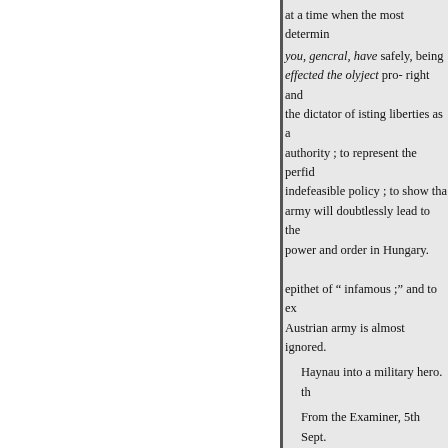at a time when the most determin
you, gencral, have safely, being effected the olyject pro- right and the dictator of isting liberties as a authority ; to represent the perfid indefeasible policy ; to show tha army will doubtlessly lead to the power and order in Hungary.
epithet of “ infamous ;” and to ex Austrian army is almost ignored.
Haynau into a military hero. th
From the Examiner, 5th Sept.
ARE THE HUNGARIANS P
be considered “insulting to the H loss to conceive ; but we concern will consider the “ they were the Times, in- association, for the ex manufactures, which can only be hibitive duties on the produce of